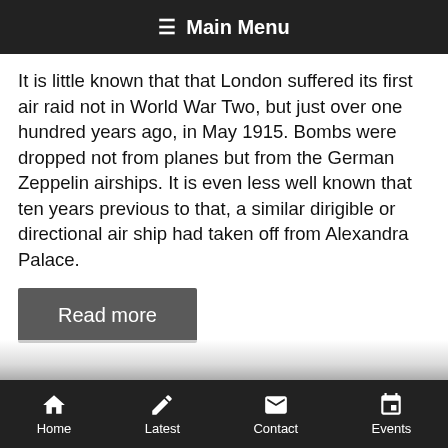≡ Main Menu
It is little known that that London suffered its first air raid not in World War Two, but just over one hundred years ago, in May 1915. Bombs were dropped not from planes but from the German Zeppelin airships. It is even less well known that ten years previous to that, a similar dirigible or directional air ship had taken off from Alexandra Palace.
Read more
Home  Latest  Contact  Events